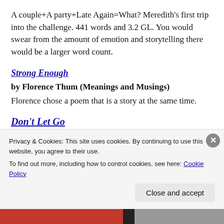A couple+A party+Late Again=What? Meredith's first trip into the challenge. 441 words and 3.2 GL. You would swear from the amount of emotion and storytelling there would be a larger word count.
Strong Enough
by Florence Thum (Meanings and Musings) Florence chose a poem that is a story at the same time.
Don't Let Go
Privacy & Cookies: This site uses cookies. By continuing to use this website, you agree to their use.
To find out more, including how to control cookies, see here: Cookie Policy